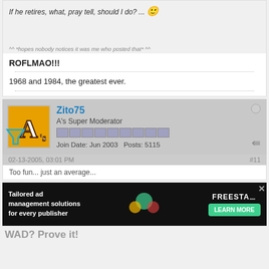If he retires, what, pray tell, should I do? ...
^^ *hopes nobody notices it was me who posted that* ^^
ROFLMAO!!!
1968 and 1984, the greatest ever.
Zito75
A's Super Moderator
Join Date: Jun 2003  Posts: 5115
02-13-2005, 03:01 PM  #11
Too fun... just an average...
[Figure (screenshot): Advertisement banner: Tailored ad management solutions for every publisher - Freestar - Learn More button]
WAD? Prove it!